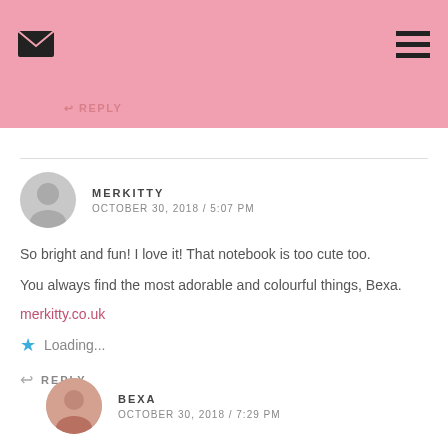REPLY
MERKITTY
OCTOBER 30, 2018 / 5:07 PM
So bright and fun! I love it! That notebook is too cute too.
You always find the most adorable and colourful things, Bexa.
merkitty.co.uk
Loading...
REPLY
BEXA
OCTOBER 30, 2018 / 7:29 PM